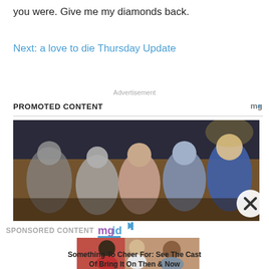you were. Give me my diamonds back.
Next: a love to die Thursday Update
Advertisement
PROMOTED CONTENT
[Figure (photo): Group of people posing for a selfie in what appears to be an auditorium or formal hall setting]
SPONSORED CONTENT mgid
[Figure (photo): Three people posing together, smiling — cast photo from Bring It On]
Something To Cheer For: See The Cast Of Bring It On Then & Now